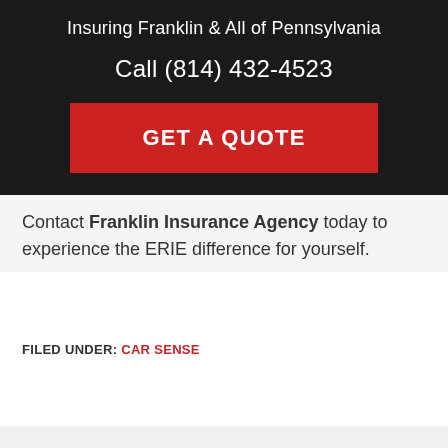Insuring Franklin & All of Pennsylvania
Call (814) 432-4523
GET A QUOTE
Contact Franklin Insurance Agency today to experience the ERIE difference for yourself.
FILED UNDER: CAR SENSE
Franklin Insurance O...